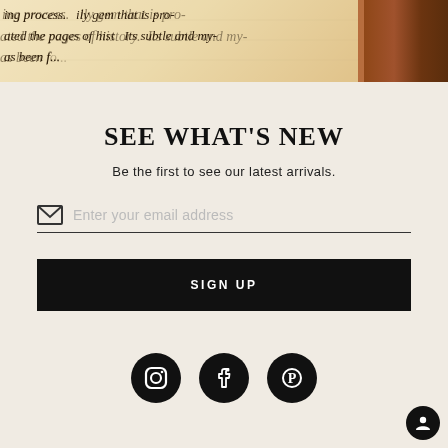[Figure (photo): Partial view of an open book with italic serif text visible on aged paper pages, with a dark brown leather book spine/cover on the right side.]
SEE WHAT'S NEW
Be the first to see our latest arrivals.
Enter your email address
SIGN UP
[Figure (infographic): Three social media icons: Instagram, Facebook, and Pinterest, each displayed as white icons inside black circles.]